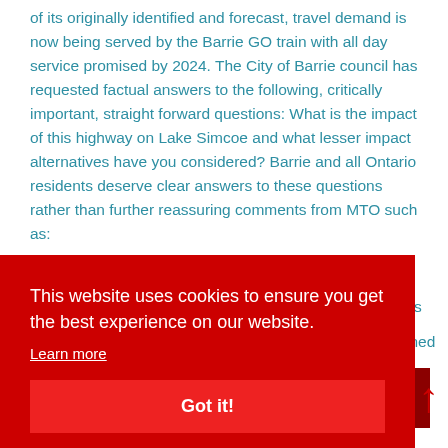of its originally identified and forecast, travel demand is now being served by the Barrie GO train with all day service promised by 2024. The City of Barrie council has requested factual answers to the following, critically important, straight forward questions: What is the impact of this highway on Lake Simcoe and what lesser impact alternatives have you considered? Barrie and all Ontario residents deserve clear answers to these questions rather than further reassuring comments from MTO such as:
This website uses cookies to ensure you get the best experience on our website. Learn more
Got it!